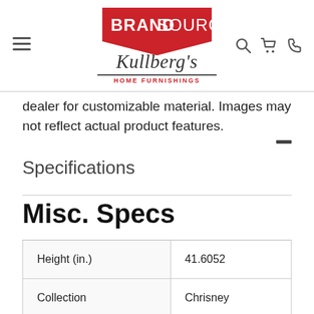[Figure (logo): BrandSource Kullberg's Home Furnishings logo with red house/pentagon shape, script Kullberg's text, and navigation icons (hamburger menu, search, cart, phone)]
dealer for customizable material. Images may not reflect actual product features.
Specifications
Misc. Specs
| Height (in.) | 41.6052 |
| Collection | Chrisney |